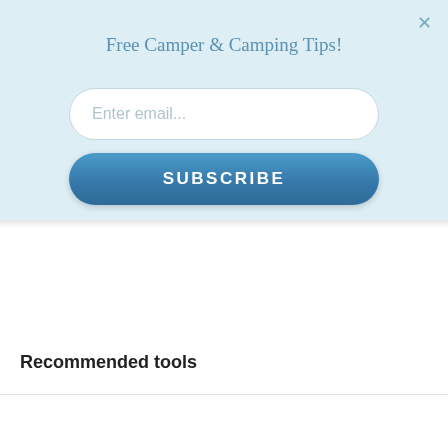Free Camper & Camping Tips!
Enter email...
SUBSCRIBE
Recommended tools